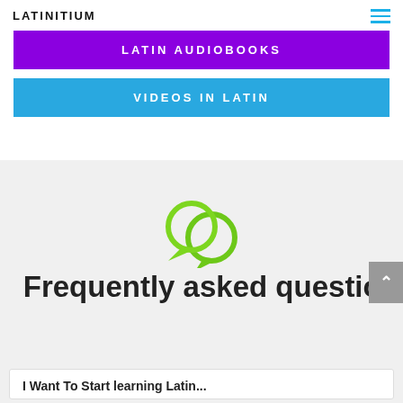LATINITIUM
LATIN AUDIOBOOKS
VIDEOS IN LATIN
[Figure (illustration): Two overlapping speech bubble icons in green color]
Frequently asked questions
I Want To Start learning Latin...